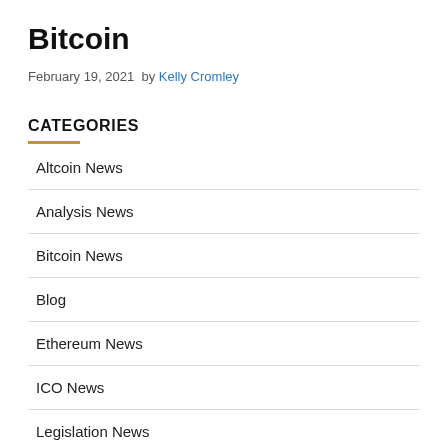Bitcoin
February 19, 2021  by Kelly Cromley
CATEGORIES
Altcoin News
Analysis News
Bitcoin News
Blog
Ethereum News
ICO News
Legislation News
Market News